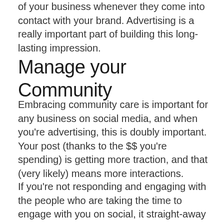of your business whenever they come into contact with your brand. Advertising is a really important part of building this long-lasting impression.
Manage your Community
Embracing community care is important for any business on social media, and when you're advertising, this is doubly important. Your post (thanks to the $$ you're spending) is getting more traction, and that (very likely) means more interactions.
If you're not responding and engaging with the people who are taking the time to engage with you on social, it straight-away gives people that out-of-touch and/or arrogant vibe about your brand. So make a dedicated effort to welcome, and proactively encourage conversation. The more